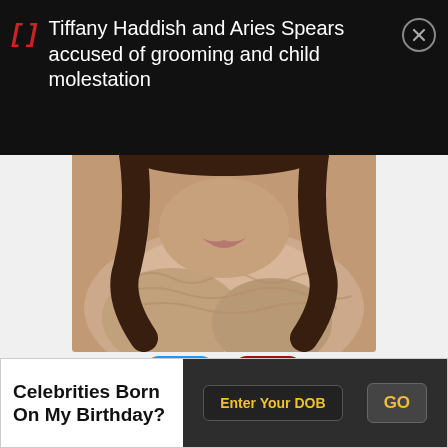Tiffany Haddish and Aries Spears accused of grooming and child molestation
[Figure (photo): Close-up photo of a woman wearing a beige/tan knit scarf wrap around her neck, with long dark hair, smiling, wearing a blue top]
[Figure (infographic): Blue rounded square button with white upward arrow circle icon (upvote), count 50. Red rounded square button with white downward arrow circle icon (downvote), count 23.]
Listed In: Film & Theater Personalities
Birthdate: May 3, 1982
Celebrities Born On My Birthday?
Enter Your DOB
GO